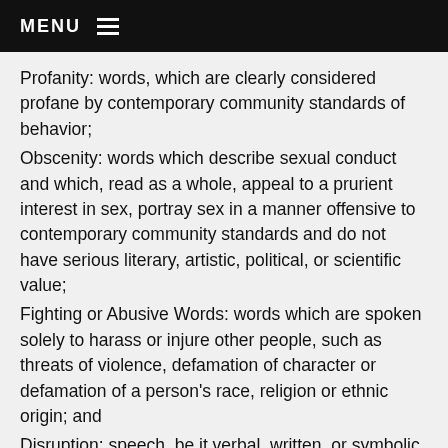MENU
Profanity: words, which are clearly considered profane by contemporary community standards of behavior;
Obscenity: words which describe sexual conduct and which, read as a whole, appeal to a prurient interest in sex, portray sex in a manner offensive to contemporary community standards and do not have serious literary, artistic, political, or scientific value;
Fighting or Abusive Words: words which are spoken solely to harass or injure other people, such as threats of violence, defamation of character or defamation of a person's race, religion or ethnic origin; and
Disruption: speech, be it verbal, written, or symbolic, which materially and substantially